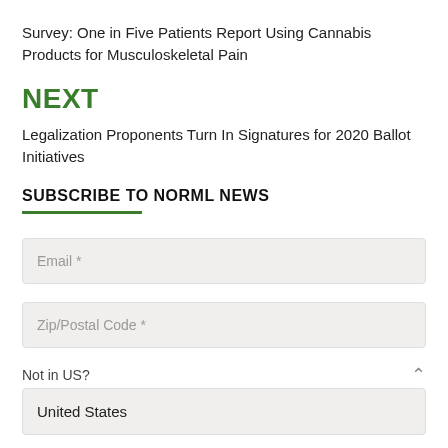Survey: One in Five Patients Report Using Cannabis Products for Musculoskeletal Pain
NEXT
Legalization Proponents Turn In Signatures for 2020 Ballot Initiatives
SUBSCRIBE TO NORML NEWS
Email *
Zip/Postal Code *
Not in US?
United States